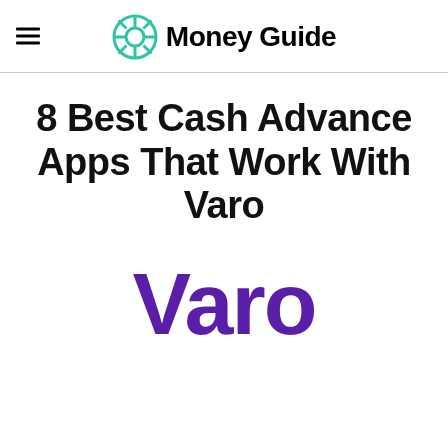Money Guide
8 Best Cash Advance Apps That Work With Varo
[Figure (logo): Varo wordmark in bold purple text]